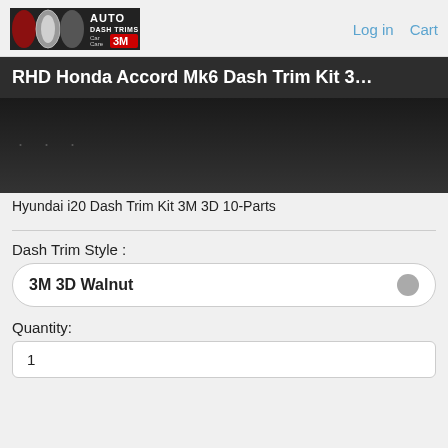AUTO DASH TRIMS Car Care 3M | Log in  Cart
RHD Honda Accord Mk6 Dash Trim Kit 3…
[Figure (photo): Dark product image area with three dot navigation indicators at bottom left]
Hyundai i20 Dash Trim Kit 3M 3D 10-Parts
Dash Trim Style :
3M 3D Walnut
Quantity:
1